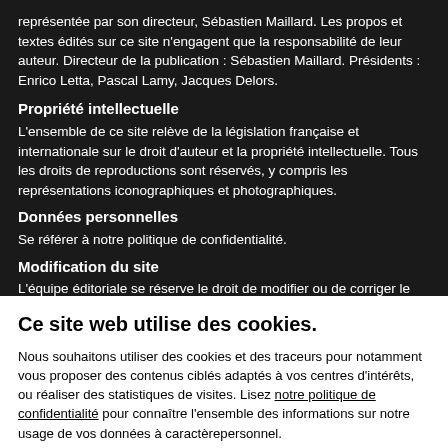représentée par son directeur, Sébastien Maillard. Les propos et textes édités sur ce site n'engagent que la responsabilité de leur auteur. Directeur de la publication : Sébastien Maillard. Présidents : Enrico Letta, Pascal Lamy, Jacques Delors.
Propriété intellectuelle
L'ensemble de ce site relève de la législation française et internationale sur le droit d'auteur et la propriété intellectuelle. Tous les droits de reproductions sont réservés, y compris les représentations iconographiques et photographiques.
Données personnelles
Se référer à notre politique de confidentialité.
Modification du site
L'équipe éditoriale se réserve le droit de modifier ou de corriger le contenu de ce site et de ces mentions légales à tout moment et ceci
Ce site web utilise des cookies.
Nous souhaitons utiliser des cookies et des traceurs pour notamment vous proposer des contenus ciblés adaptés à vos centres d'intérêts, ou réaliser des statistiques de visites. Lisez notre politique de confidentialité pour connaître l'ensemble des informations sur notre usage de vos données à caractèrepersonnel.